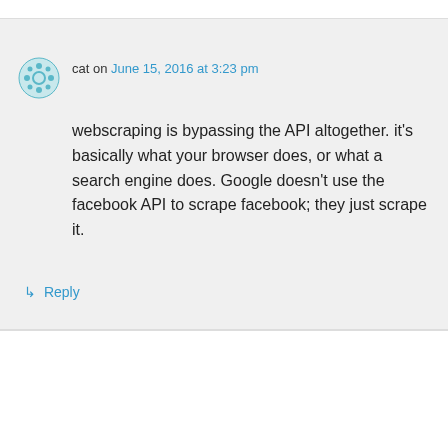cat on June 15, 2016 at 3:23 pm
webscraping is bypassing the API altogether. it's basically what your browser does, or what a search engine does. Google doesn't use the facebook API to scrape facebook; they just scrape it.
Reply
YeahSeeThatNo on April 6, 2010 at 4:43 am
So you're data-mining, for profit, and the big boys refuse to play with you ? Allow me to whip out the worlds smallest violin.